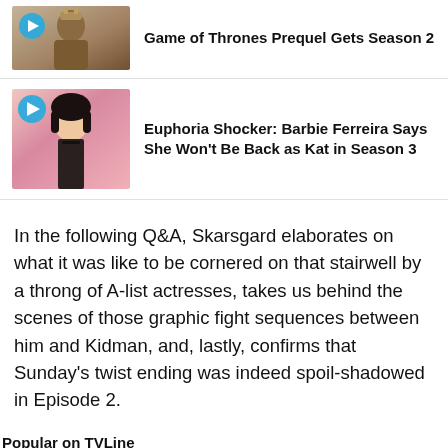[Figure (photo): Article thumbnail for Game of Thrones Prequel season 2 story, showing a figure in medieval costume. Partially cropped at top.]
Game of Thrones Prequel Gets Season 2
[Figure (photo): Article thumbnail for Euphoria story showing Barbie Ferreira (Kat). Pink background. Play icon overlay.]
Euphoria Shocker: Barbie Ferreira Says She Won't Be Back as Kat in Season 3
In the following Q&A, Skarsgard elaborates on what it was like to be cornered on that stairwell by a throng of A-list actresses, takes us behind the scenes of those graphic fight sequences between him and Kidman, and, lastly, confirms that Sunday's twist ending was indeed spoil-shadowed in Episode 2.
Popular on TVLine
[Figure (photo): Dark promotional image for House of the Dragon episode 1 recap article.]
'House of the Dragon' Episode 1 Re...
Did the prequel's premiere recapture the magic of 'Ga...